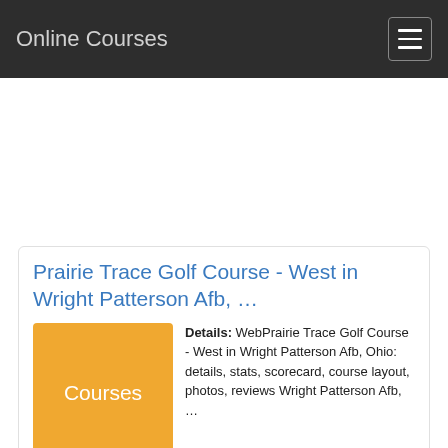Online Courses
[Figure (other): Advertisement / empty ad area]
Prairie Trace Golf Course - West in Wright Patterson Afb, …
[Figure (other): Orange thumbnail box labeled 'Courses']
Details: WebPrairie Trace Golf Course - West in Wright Patterson Afb, Ohio: details, stats, scorecard, course layout, photos, reviews Wright Patterson Afb, … twin base golf course wright patterson
› Verified   4 days ago
› Url: golfpass.com   Go Now
› Get more: Twin base golf course wright patterson